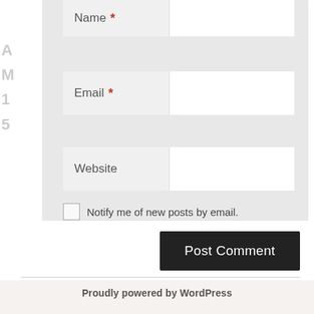[Figure (screenshot): WordPress comment form showing Name (partially visible at top), Email, and Website input fields with required markers, a notification checkbox, Post Comment button, and footer.]
Name *
Email *
Website
Notify me of new posts by email.
Post Comment
Proudly powered by WordPress